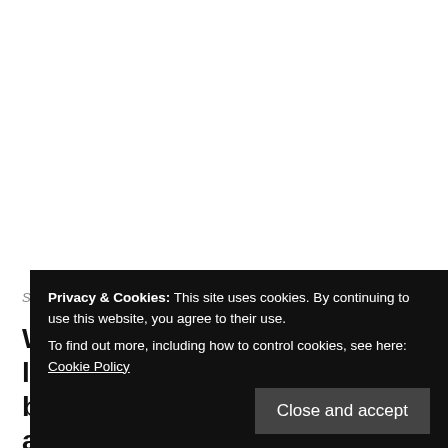South Ossetia: Life behind barbed wire
Where does this leave the locals? Not only have they been physically barred from access to the other side of the administrative boundary, they are not allowed to cross the boundary as well. South Ossetian border guards, operating u... a... i... Ossetian detention after being arrested for alleged illegally
Privacy & Cookies: This site uses cookies. By continuing to use this website, you agree to their use.
To find out more, including how to control cookies, see here: Cookie Policy
Close and accept